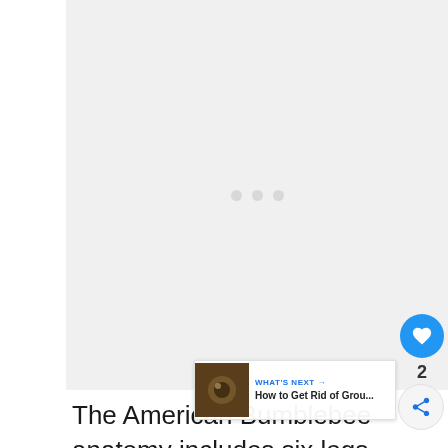[Figure (photo): Large image placeholder with loading dots (three small gray circles) centered in a light gray rectangle area, representing an image of an American Bumblebee that has not fully loaded.]
The American Bumblebee anatomy includes six legs, four wings, and antennae. They have a thorax, abdomen,